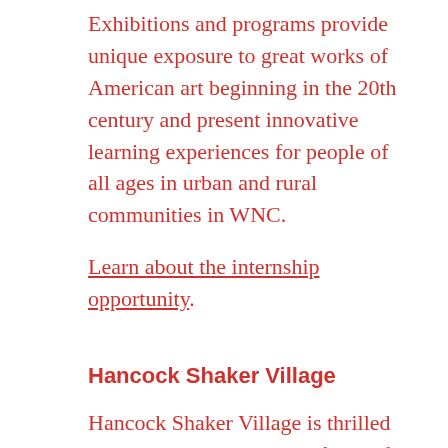Exhibitions and programs provide unique exposure to great works of American art beginning in the 20th century and present innovative learning experiences for people of all ages in urban and rural communities in WNC.
Learn about the internship opportunity.
Hancock Shaker Village
Hancock Shaker Village is thrilled to partner with the Center for Craft, Creativity & Design to offer a 2019 Windgate Fellowship in the Collections Department. Reporting to the Curator, the Windgate Fellow will...